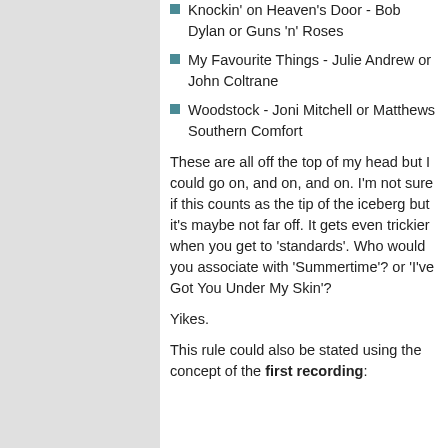Knockin' on Heaven's Door - Bob Dylan or Guns 'n' Roses
My Favourite Things - Julie Andrew or John Coltrane
Woodstock - Joni Mitchell or Matthews Southern Comfort
These are all off the top of my head but I could go on, and on, and on. I'm not sure if this counts as the tip of the iceberg but it's maybe not far off. It gets even trickier when you get to 'standards'. Who would you associate with 'Summertime'? or 'I've Got You Under My Skin'?
Yikes.
This rule could also be stated using the concept of the first recording: